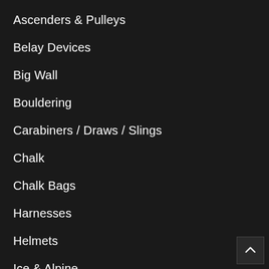Ascenders & Pulleys
Belay Devices
Big Wall
Bouldering
Carabiners / Draws / Slings
Chalk
Chalk Bags
Harnesses
Helmets
Ice & Alpine
Packs
Protection
Rigging & Rescue